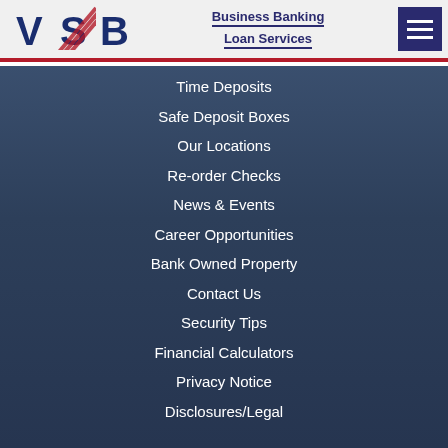[Figure (logo): VSB bank logo with red diagonal stripes and dark blue letters]
Business Banking
Loan Services
Time Deposits
Safe Deposit Boxes
Our Locations
Re-order Checks
News & Events
Career Opportunities
Bank Owned Property
Contact Us
Security Tips
Financial Calculators
Privacy Notice
Disclosures/Legal